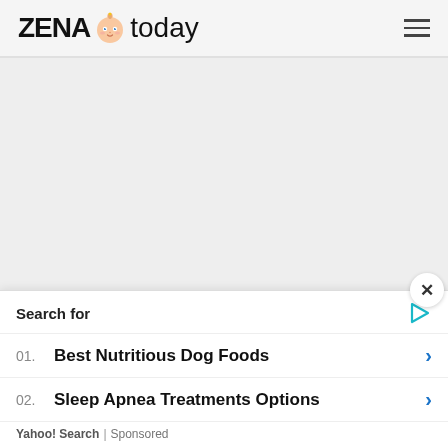ZENA today
[Figure (other): Large empty grey content area placeholder]
1  2  3  »  (pagination controls)
Search for
01. Best Nutritious Dog Foods
02. Sleep Apnea Treatments Options
Yahoo! Search | Sponsored